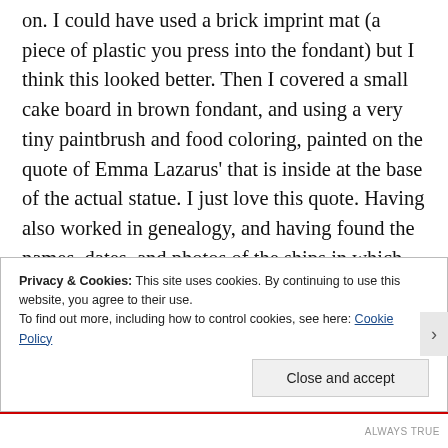on. I could have used a brick imprint mat (a piece of plastic you press into the fondant) but I think this looked better. Then I covered a small cake board in brown fondant, and using a very tiny paintbrush and food coloring, painted on the quote of Emma Lazarus' that is inside at the base of the actual statue. I just love this quote. Having also worked in genealogy, and having found the names, dates, and photos of the ships in which my ancestors arrived from Ireland, Sweden, Norway, and Hungary- I'm just happy to know that they were coming to a country that
Privacy & Cookies: This site uses cookies. By continuing to use this website, you agree to their use.
To find out more, including how to control cookies, see here: Cookie Policy
Close and accept